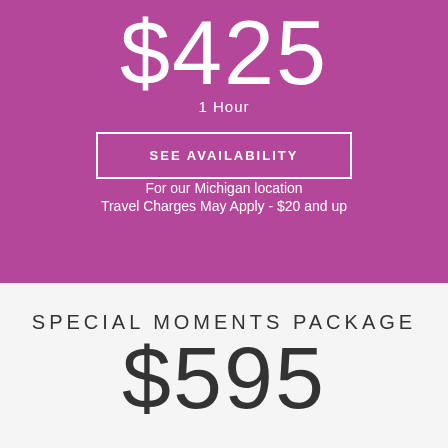$425
1 Hour
SEE AVAILABILITY
For our Michigan location
Travel Charges May Apply - $20 and up
SPECIAL MOMENTS PACKAGE
$595